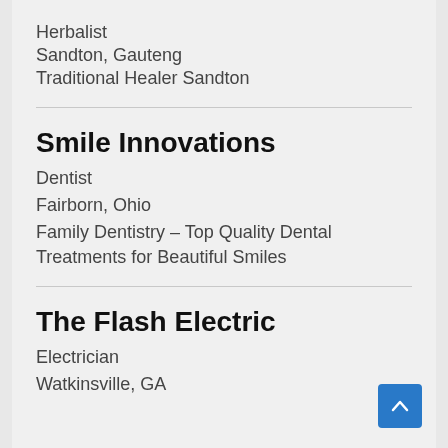Herbalist
Sandton, Gauteng
Traditional Healer Sandton
Smile Innovations
Dentist
Fairborn, Ohio
Family Dentistry – Top Quality Dental Treatments for Beautiful Smiles
The Flash Electric
Electrician
Watkinsville, GA